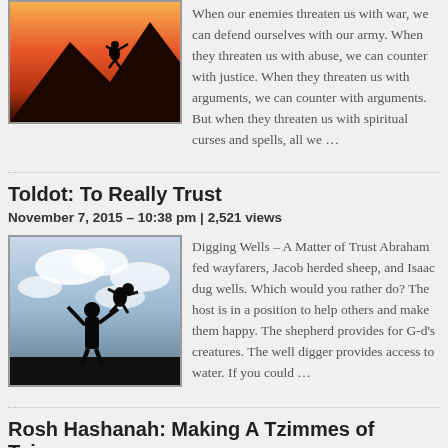[Figure (photo): Silhouette of a person rock climbing against an orange sunset sky]
When our enemies threaten us with war, we can defend ourselves with our army. When they threaten us with abuse, we can counter with justice. When they threaten us with arguments, we can counter with arguments. But when they threaten us with spiritual curses and spells, all we …
Toldot: To Really Trust
November 7, 2015 – 10:38 pm | 2,521 views
[Figure (photo): Silhouette of an adult throwing a child in the air against a cloudy sky]
Digging Wells – A Matter of Trust Abraham fed wayfarers, Jacob herded sheep, and Isaac dug wells. Which would you rather do? The host is in a position to help others and make them happy. The shepherd provides for G-d's creatures. The well digger provides access to water. If you could …
Rosh Hashanah: Making A Tzimmes of Tzimmes
September 25, 2011 – 3:24 am | 5,349 views